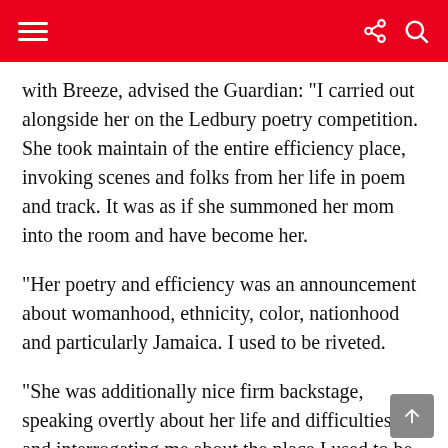with Breeze, advised the Guardian: “I carried out alongside her on the Ledbury poetry competition. She took maintain of the entire efficiency place, invoking scenes and folks from her life in poem and track. It was as if she summoned her mom into the room and have become her.
“Her poetry and efficiency was an announcement about womanhood, ethnicity, color, nationhood and particularly Jamaica. I used to be riveted.
“She was additionally nice firm backstage, speaking overtly about her life and difficulties, and interrogating me about the place I used to be at. She had a gorgeous infectio...